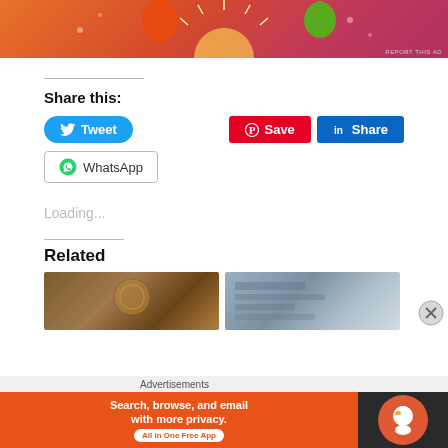[Figure (illustration): Colorful advertisement banner with orange/red gradient background featuring illustrated characters and sun design]
REPORT THIS AD
Share this:
[Figure (other): Tweet button (blue rounded), Save button (red), Share button (LinkedIn blue)]
[Figure (other): WhatsApp share button]
Loading...
Related
[Figure (photo): Related article thumbnail - decorative/ornate object]
[Figure (photo): Related article thumbnail - newspaper or document]
Advertisements
[Figure (other): DuckDuckGo advertisement - Search, browse, and email with more privacy. All in One Free App]